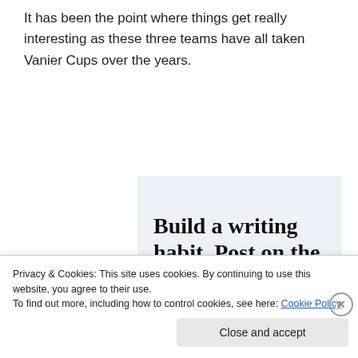It has been the point where things get really interesting as these three teams have all taken Vanier Cups over the years.
[Figure (illustration): WordPress app advertisement banner with light blue background. Large serif text reads 'Build a writing habit. Post on the go.' Below is a 'GET THE APP' link in blue uppercase text, and a blue WordPress logo icon.]
Privacy & Cookies: This site uses cookies. By continuing to use this website, you agree to their use.
To find out more, including how to control cookies, see here: Cookie Policy
Close and accept